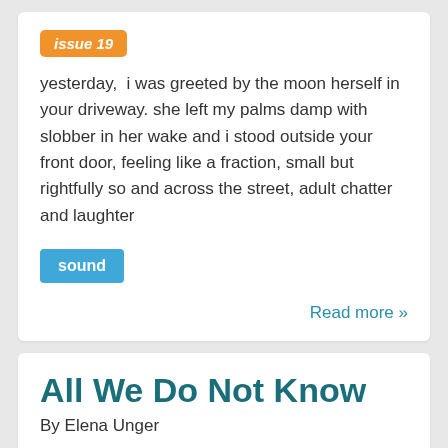issue 19
yesterday,  i was greeted by the moon herself in your driveway. she left my palms damp with slobber in her wake and i stood outside your front door, feeling like a fraction, small but rightfully so and across the street, adult chatter and laughter
sound
Read more »
All We Do Not Know
By Elena Unger
issue 19
This morning I listened to an interview with poet Ada